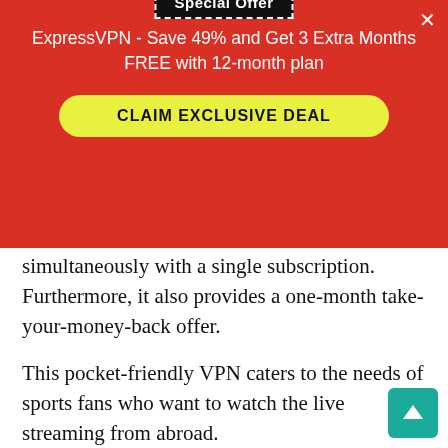[Figure (screenshot): ExpressVPN special offer popup overlay with red background, dashed-border 'Special Offer' badge, offer text, and yellow 'CLAIM EXCLUSIVE DEAL' button, plus close X button]
simultaneously with a single subscription. Furthermore, it also provides a one-month take-your-money-back offer.
This pocket-friendly VPN caters to the needs of sports fans who want to watch the live streaming from abroad.
CBS, beIN, fuboTV, SlingTV, BBC iPlayer, Amazon Prime, and Hulu are some of the notable platforms. You can also use this VPN to watch NFL outside USA and English